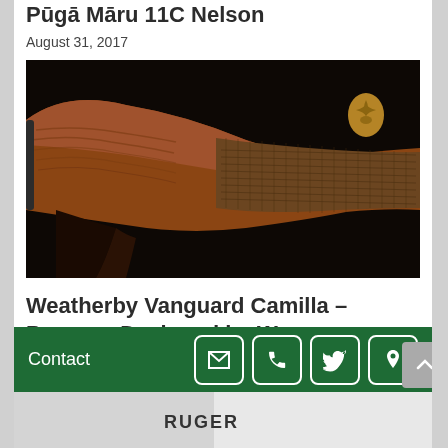Pūgā Māru 11C Nelson
August 31, 2017
[Figure (photo): Close-up photograph of a wooden rifle stock showing fine checkering pattern on dark walnut wood against a black background]
Weatherby Vanguard Camilla – Purpose Designed by Women
December 24, 2018
Contact